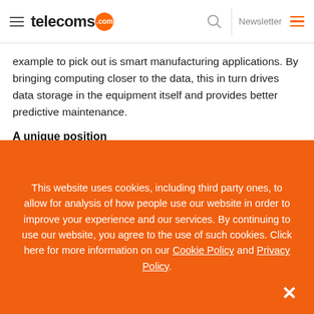telecoms.com | Newsletter
example to pick out is smart manufacturing applications. By bringing computing closer to the data, this in turn drives data storage in the equipment itself and provides better predictive maintenance.
A unique position
CSPs are all set then to uniquely position themselves, as that
This website uses cookies, including third party ones, to allow for analysis of how people use our website in order to improve your experience and our services. By continuing to use our website, you agree to the use of such cookies. Click here for more information on our Cookie Policy and Privacy Policy.